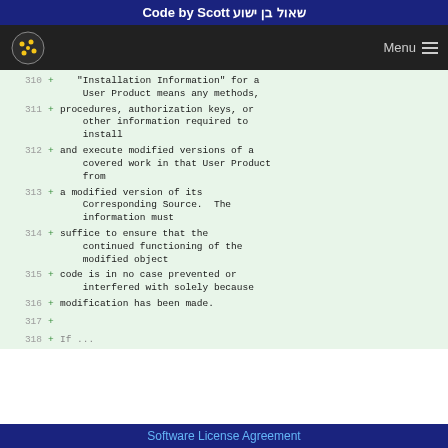Code by Scott שאול בן ישוע
[Figure (screenshot): Navigation bar with cookie logo and Menu hamburger icon]
310 + "Installation Information" for a User Product means any methods,
311 + procedures, authorization keys, or other information required to install
312 + and execute modified versions of a covered work in that User Product from
313 + a modified version of its Corresponding Source.  The information must
314 + suffice to ensure that the continued functioning of the modified object
315 + code is in no case prevented or interfered with solely because
316 + modification has been made.
317 +
318 + If ...
Software License Agreement